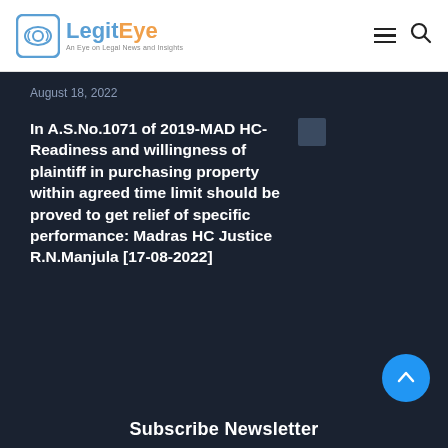LegitEye — An Eye on Legal News and Insights
August 18, 2022
In A.S.No.1071 of 2019-MAD HC- Readiness and willingness of plaintiff in purchasing property within agreed time limit should be proved to get relief of specific performance: Madras HC Justice R.N.Manjula [17-08-2022]
August 18, 2022
Subscribe Newsletter